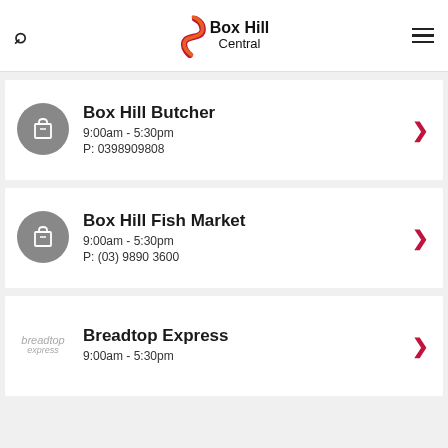Box Hill Central
Box Hill Butcher
9:00am - 5:30pm
P: 0398909808
Box Hill Fish Market
9:00am - 5:30pm
P: (03) 9890 3600
Breadtop Express
9:00am - 5:30pm